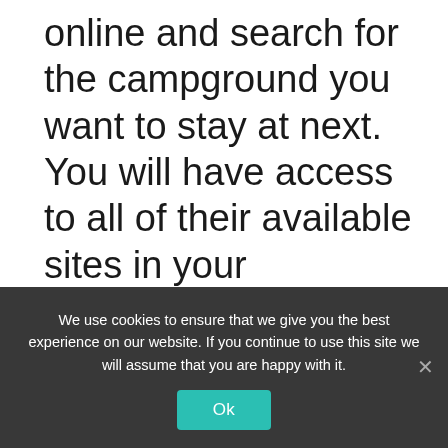online and search for the campground you want to stay at next. You will have access to all of their available sites in your designated zone without any restrictions on how many nights you can book out of 14-days free with annual membership dues paid in full
We use cookies to ensure that we give you the best experience on our website. If you continue to use this site we will assume that you are happy with it.
Ok